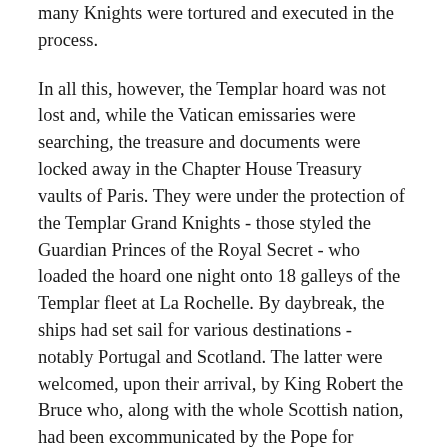many Knights were tortured and executed in the process.
In all this, however, the Templar hoard was not lost and, while the Vatican emissaries were searching, the treasure and documents were locked away in the Chapter House Treasury vaults of Paris. They were under the protection of the Templar Grand Knights - those styled the Guardian Princes of the Royal Secret - who loaded the hoard one night onto 18 galleys of the Templar fleet at La Rochelle. By daybreak, the ships had set sail for various destinations - notably Portugal and Scotland. The latter were welcomed, upon their arrival, by King Robert the Bruce who, along with the whole Scottish nation, had been excommunicated by the Pope for challenging the Catholic King Edward of England. The Templars and their treasure remained in Scotland, and the Knights fought with Bruce at Bannockburn in 1314 to regain Scotland's independence from Plantagenet England.
Subsequent to the Battle of Bannockburn, Bruce and the Guardian Princes founded the new Order of the Elder Brothers of the Rosy Cross in 1317 - from which time the Kings of Scots became hereditary Grand Masters, with each successive Stewart King holding